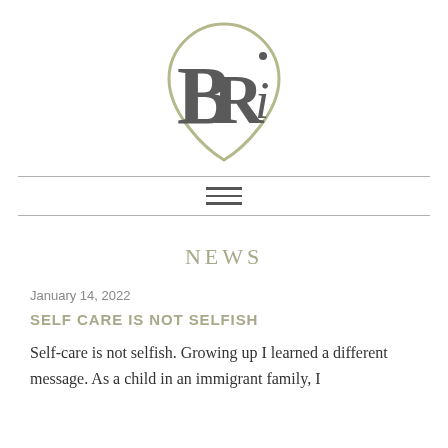[Figure (logo): BRi logo — stylized letters B, R, i inside an olive/gold teardrop shield outline]
NEWS
January 14, 2022
SELF CARE IS NOT SELFISH
Self-care is not selfish. Growing up I learned a different message. As a child in an immigrant family, I